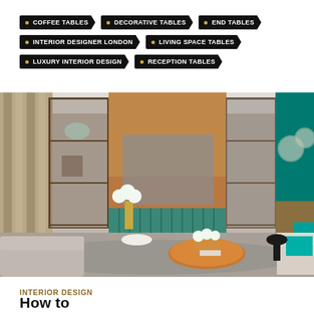COFFEE TABLES
DECORATIVE TABLES
END TABLES
INTERIOR DESIGNER LONDON
LIVING SPACE TABLES
LUXURY INTERIOR DESIGN
RECEPTION TABLES
[Figure (photo): Luxury interior design living room with teal accent wall, copper cabinet with mirrored shelving, round wood coffee table with flower arrangement, and grey sofas]
INTERIOR DESIGN
How to